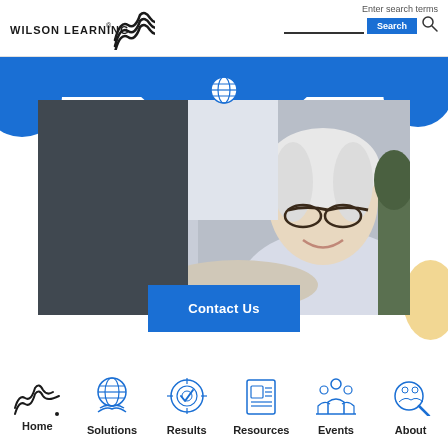[Figure (logo): Wilson Learning logo with stylized WL mark]
Enter search terms
Search
[Figure (photo): Professional business meeting scene: a smiling senior blonde woman with glasses reaching out to shake hands with a man in a gray suit, office setting]
Contact Us
[Figure (logo): WL stylized mark footer logo]
Home
[Figure (illustration): Solutions icon: globe with hands]
Solutions
[Figure (illustration): Results icon: target with checkmark]
Results
[Figure (illustration): Resources icon: document/newspaper]
Resources
[Figure (illustration): Events icon: people group on podium]
Events
[Figure (illustration): About icon: magnifying glass with people]
About